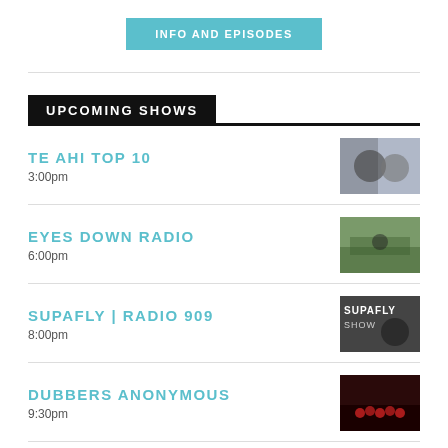INFO AND EPISODES
UPCOMING SHOWS
TE AHI TOP 10
3:00pm
EYES DOWN RADIO
6:00pm
SUPAFLY | RADIO 909
8:00pm
DUBBERS ANONYMOUS
9:30pm
THE GAMMA RAVE